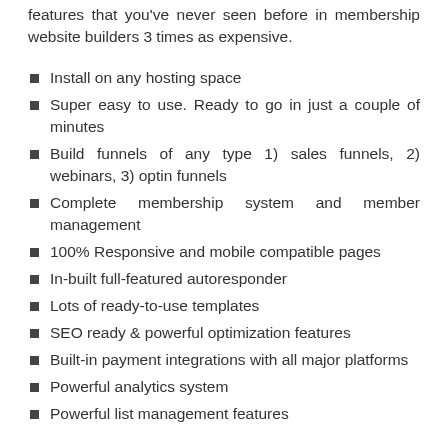features that you've never seen before in membership website builders 3 times as expensive.
Install on any hosting space
Super easy to use. Ready to go in just a couple of minutes
Build funnels of any type 1) sales funnels, 2) webinars, 3) optin funnels
Complete membership system and member management
100% Responsive and mobile compatible pages
In-built full-featured autoresponder
Lots of ready-to-use templates
SEO ready & powerful optimization features
Built-in payment integrations with all major platforms
Powerful analytics system
Powerful list management features